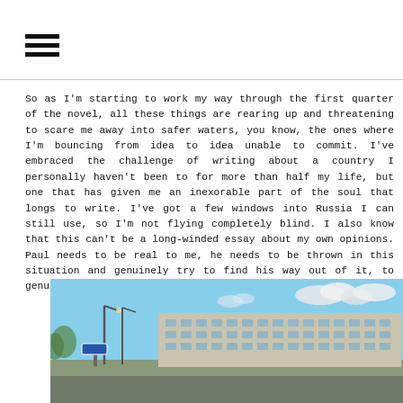[Figure (other): Hamburger menu icon (three horizontal lines)]
So as I'm starting to work my way through the first quarter of the novel, all these things are rearing up and threatening to scare me away into safer waters, you know, the ones where I'm bouncing from idea to idea unable to commit. I've embraced the challenge of writing about a country I personally haven't been to for more than half my life, but one that has given me an inexorable part of the soul that longs to write. I've got a few windows into Russia I can still use, so I'm not flying completely blind. I also know that this can't be a long-winded essay about my own opinions. Paul needs to be real to me, he needs to be thrown in this situation and genuinely try to find his way out of it, to genuinely react to the face that he
[Figure (photo): Street-level photograph of a large Soviet-era apartment block in Russia under a blue sky with scattered clouds, with street lights and a street sign visible in the foreground.]